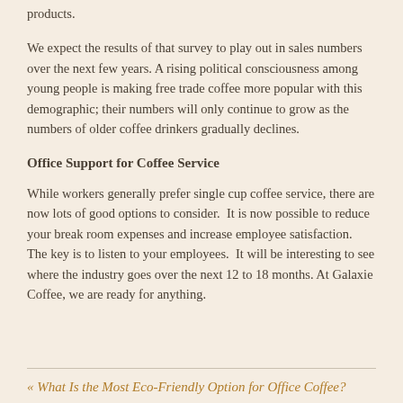products.
We expect the results of that survey to play out in sales numbers over the next few years. A rising political consciousness among young people is making free trade coffee more popular with this demographic; their numbers will only continue to grow as the numbers of older coffee drinkers gradually declines.
Office Support for Coffee Service
While workers generally prefer single cup coffee service, there are now lots of good options to consider.  It is now possible to reduce your break room expenses and increase employee satisfaction.  The key is to listen to your employees.  It will be interesting to see where the industry goes over the next 12 to 18 months. At Galaxie Coffee, we are ready for anything.
« What Is the Most Eco-Friendly Option for Office Coffee?